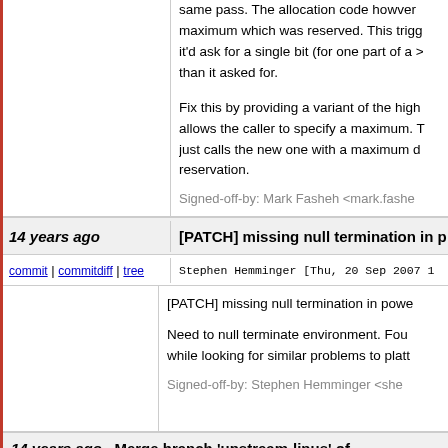This means that multiple (small) separate allocations can reuse bits from the same pass. The allocation code however always rounds up to the maximum which was reserved. This trigg... it'd ask for a single bit (for one part of a > ... than it asked for.
Fix this by providing a variant of the high... allows the caller to specify a maximum. T... just calls the new one with a maximum d... reservation.
Signed-off-by: Mark Fasheh <mark.fashe...
14 years ago   [PATCH] missing null termination in p...
commit | commitdiff | tree   Stephen Hemminger [Thu, 20 Sep 2007 1...
[PATCH] missing null termination in powe...
Need to null terminate environment. Fou... while looking for similar problems to platt...
Signed-off-by: Stephen Hemminger <she...
14 years ago   Merge branch 'upstream-linus' of master.kernel.org:/pub/scm/linux/kernel/git/jgarzik...